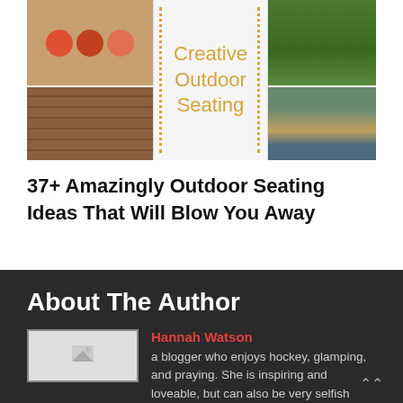[Figure (photo): Collage of outdoor seating images with center text 'Creative Outdoor Seating' in yellow cursive on dotted border background]
37+ Amazingly Outdoor Seating Ideas That Will Blow You Away
About The Author
[Figure (photo): Author avatar/profile image placeholder]
Hannah Watson
a blogger who enjoys hockey, glamping, and praying. She is inspiring and loveable, but can also be very selfish